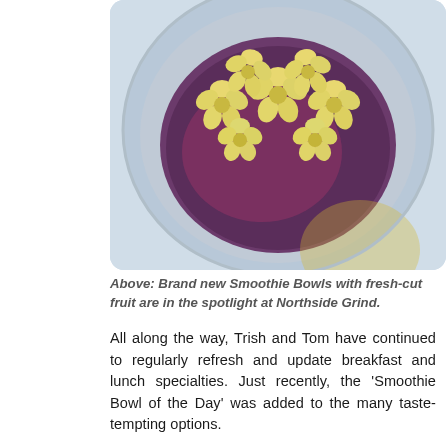[Figure (photo): Close-up overhead photo of a smoothie bowl topped with flower-shaped banana slices arranged in a cluster, set against a purple açaí base, in a clear plastic container with a light blue background.]
Above: Brand new Smoothie Bowls with fresh-cut fruit are in the spotlight at Northside Grind.
All along the way, Trish and Tom have continued to regularly refresh and update breakfast and lunch specialties. Just recently, the 'Smoothie Bowl of the Day' was added to the many taste-tempting options.
Entry into the shop itself remains limited to employees only. Customers are invited to step beyond the garden gate, sit down and relax outdoors – social distance style. If the area is in use, guests may take food and beverages to the hotel's poolside area for additional seating.